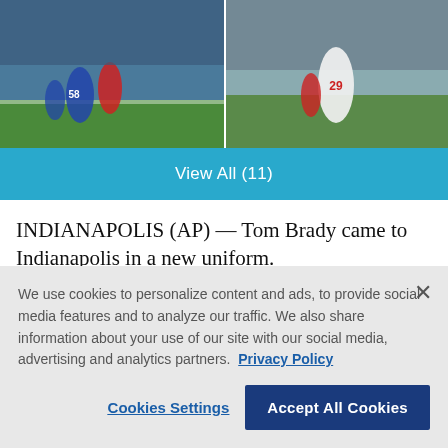[Figure (photo): Two NFL game action photos side by side: left shows players on field with number 58 visible, right shows player number 29 in white jersey]
View All (11)
INDIANAPOLIS (AP) — Tom Brady came to Indianapolis in a new uniform.
He followed the same old script — turning mistakes into points and leading his team on another decisive
We use cookies to personalize content and ads, to provide social media features and to analyze our traffic. We also share information about your use of our site with our social media, advertising and analytics partners. Privacy Policy
Cookies Settings
Accept All Cookies